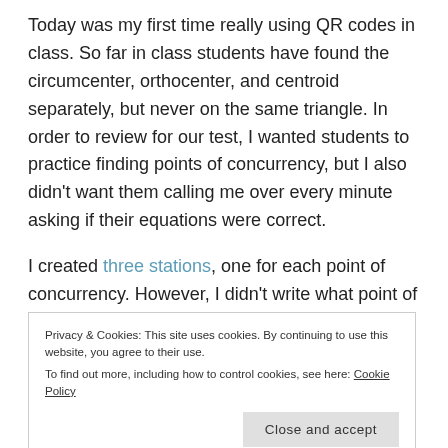Today was my first time really using QR codes in class. So far in class students have found the circumcenter, orthocenter, and centroid separately, but never on the same triangle. In order to review for our test, I wanted students to practice finding points of concurrency, but I also didn't want them calling me over every minute asking if their equations were correct.
I created three stations, one for each point of concurrency. However, I didn't write what point of concurrency they were finding. Each sheet started with a part 1. In part 1, students had to find the
Privacy & Cookies: This site uses cookies. By continuing to use this website, you agree to their use.
To find out more, including how to control cookies, see here: Cookie Policy
Each station was a different color and told students